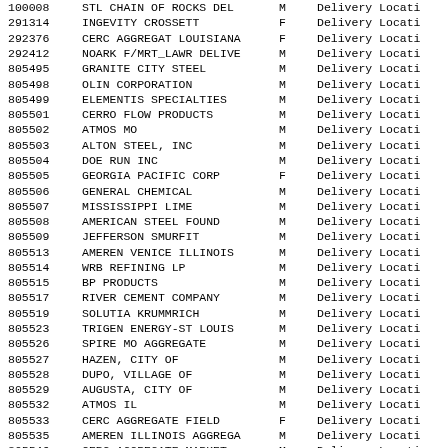| ID | Name | Type | Location |
| --- | --- | --- | --- |
| 100008 | STL CHAIN OF ROCKS DEL | M | Delivery Locati |
| 291314 | INGEVITY CROSSETT | F | Delivery Locati |
| 292376 | CERC AGGREGAT LOUISIANA | F | Delivery Locati |
| 292412 | NOARK F/MRT_LAWR DELIVE | M | Delivery Locati |
| 805495 | GRANITE CITY STEEL | M | Delivery Locati |
| 805498 | OLIN CORPORATION | M | Delivery Locati |
| 805499 | ELEMENTIS SPECIALTIES | M | Delivery Locati |
| 805501 | CERRO FLOW PRODUCTS | M | Delivery Locati |
| 805502 | ATMOS MO | M | Delivery Locati |
| 805503 | ALTON STEEL, INC | M | Delivery Locati |
| 805504 | DOE RUN INC | M | Delivery Locati |
| 805505 | GEORGIA PACIFIC CORP | F | Delivery Locati |
| 805506 | GENERAL CHEMICAL | M | Delivery Locati |
| 805507 | MISSISSIPPI LIME | M | Delivery Locati |
| 805508 | AMERICAN STEEL FOUND | M | Delivery Locati |
| 805509 | JEFFERSON SMURFIT | M | Delivery Locati |
| 805513 | AMEREN VENICE ILLINOIS | M | Delivery Locati |
| 805514 | WRB REFINING LP | M | Delivery Locati |
| 805515 | BP PRODUCTS | M | Delivery Locati |
| 805517 | RIVER CEMENT COMPANY | M | Delivery Locati |
| 805519 | SOLUTIA KRUMMRICH | M | Delivery Locati |
| 805523 | TRIGEN ENERGY-ST LOUIS | M | Delivery Locati |
| 805526 | SPIRE MO AGGREGATE | M | Delivery Locati |
| 805527 | HAZEN, CITY OF | M | Delivery Locati |
| 805528 | DUPO, VILLAGE OF | M | Delivery Locati |
| 805529 | AUGUSTA, CITY OF | M | Delivery Locati |
| 805532 | ATMOS IL | M | Delivery Locati |
| 805533 | CERC AGGREGATE FIELD | F | Delivery Locati |
| 805535 | AMEREN ILLINOIS AGGREGA | M | Delivery Locati |
| 805546 | CERC AGGREGATE MARKET | M | Delivery Locati |